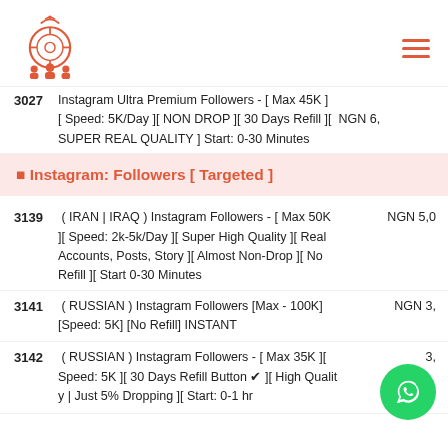GAINFAME
Instagram Ultra Premium Followers - [ Max 45K ] [ Speed: 5K/Day ][ NON DROP ][ 30 Days Refill ][ SUPER REAL QUALITY ] Start: 0-30 Minutes
3027 NGN 6,...
🎯 Instagram: Followers [ Targeted ]
3139 ( IRAN | IRAQ ) Instagram Followers - [ Max 50K ][ Speed: 2k-5k/Day ][ Super High Quality ][ Real Accounts, Posts, Story ][ Almost Non-Drop ][ No Refill ][ Start 0-30 Minutes NGN 5,0
3141 ( RUSSIAN ) Instagram Followers [Max - 100K] [Speed: 5K] [No Refill] INSTANT NGN 3,...
3142 ( RUSSIAN ) Instagram Followers - [ Max 35K ][ Speed: 5K ][ 30 Days Refill Button ✔ ][ High Quality | Just 5% Dropping ][ Start: 0-1 hr NGN ...3,...